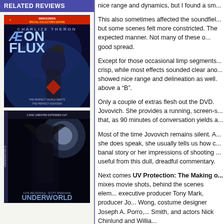RELATED REVIEWS
[Figure (photo): Movie cover for Aeon Flux (Widescreen Special Collector's Edition) featuring Charlize Theron as the perfect assassin]
[Figure (photo): Movie cover for Underworld (2 Disc Unrated Extended Cut) featuring Kate Beckinsale and Scott Speedman]
nice range and dynamics, but I found a sm...
This also sometimes affected the soundfiel... but some scenes felt more constricted. The expected manner. Not many of these o... good spread.
Except for those occasional limp segments... crisp, while most effects sounded clear ano... showed nice range and delineation as well. above a “B”.
Only a couple of extras flesh out the DVD. Jovovich. She provides a running, screen-s... that, as 90 minutes of conversation yields a...
Most of the time Jovovich remains silent. A... she does speak, she usually tells us how c... banal story or her impressions of shooting ... useful from this dull, dreadful commentary.
Next comes UV Protection: The Making o... mixes movie shots, behind the scenes elem... executive producer Tony Mark, producer Jo... Wong, costume designer Joseph A. Porro,... Smith, and actors Nick Chinlund and Willia...
The program looks at the story and the dire... shooting in Shanghai. From there we learn... some other visual effects elements, set ano...